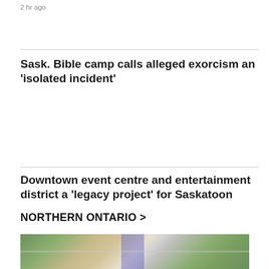2 hr ago
Sask. Bible camp calls alleged exorcism an 'isolated incident'
Downtown event centre and entertainment district a 'legacy project' for Saskatoon
NORTHERN ONTARIO >
[Figure (photo): Aerial view of a road intersection or urban planning model showing roads, trees and buildings]